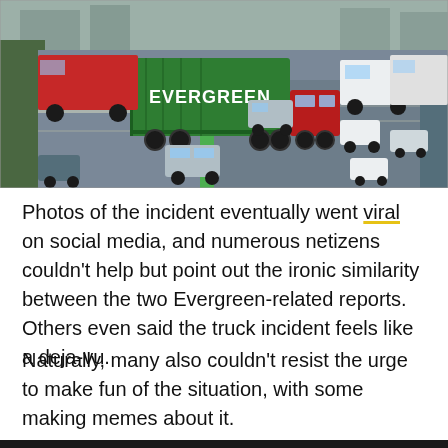[Figure (photo): Aerial view of a highway with an Evergreen-branded green shipping container truck blocking or crossing lanes, surrounded by other vehicles including cars and trucks.]
Photos of the incident eventually went viral on social media, and numerous netizens couldn't help but point out the ironic similarity between the two Evergreen-related reports. Others even said the truck incident feels like a deja-vu.
Naturally, many also couldn't resist the urge to make fun of the situation, with some making memes about it.